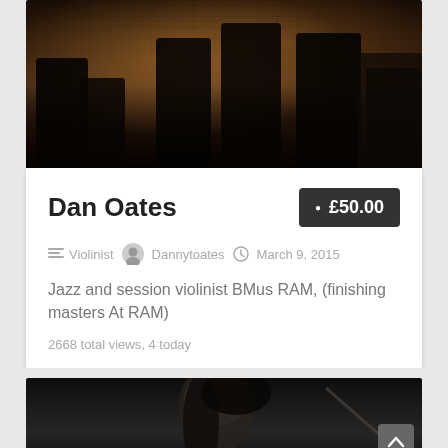[Figure (photo): Dark atmospheric photo of musicians/people in a dimly lit room with brick wall and warm golden lighting]
Dan Oates
• £50.00
≡ Violinist  Dannytoates  ⊙ March 9, 2015
Jazz and session violinist BMus RAM, (finishing masters At RAM)
2668 total views, 4 today
[Figure (photo): Black and white close-up photo of a woman's face in profile with long hair, holding what appears to be a violin bow]